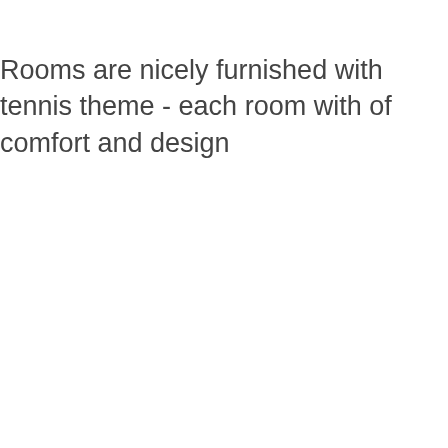Rooms are nicely furnished with tennis theme - each room with of comfort and design